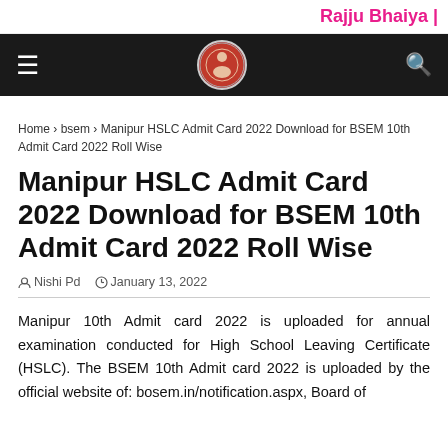Rajju Bhaiya |
Home > bsem > Manipur HSLC Admit Card 2022 Download for BSEM 10th Admit Card 2022 Roll Wise
Manipur HSLC Admit Card 2022 Download for BSEM 10th Admit Card 2022 Roll Wise
Nishi Pd  January 13, 2022
Manipur 10th Admit card 2022 is uploaded for annual examination conducted for High School Leaving Certificate (HSLC). The BSEM 10th Admit card 2022 is uploaded by the official website of: bosem.in/notification.aspx, Board of